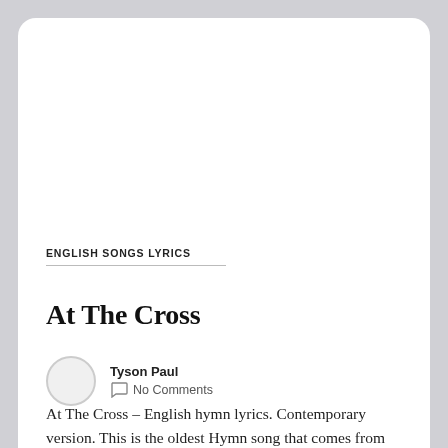ENGLISH SONGS LYRICS
At The Cross
Tyson Paul
No Comments
At The Cross – English hymn lyrics. Contemporary version. This is the oldest Hymn song that comes from